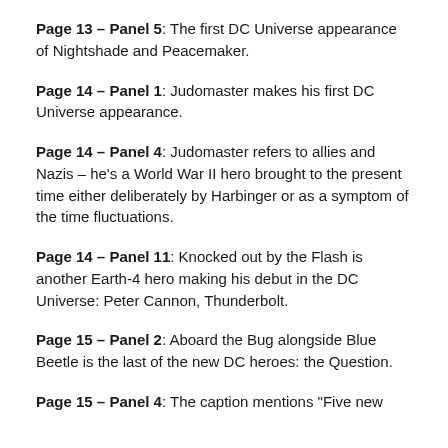Page 13 – Panel 5: The first DC Universe appearance of Nightshade and Peacemaker.
Page 14 – Panel 1: Judomaster makes his first DC Universe appearance.
Page 14 – Panel 4: Judomaster refers to allies and Nazis – he's a World War II hero brought to the present time either deliberately by Harbinger or as a symptom of the time fluctuations.
Page 14 – Panel 11: Knocked out by the Flash is another Earth-4 hero making his debut in the DC Universe: Peter Cannon, Thunderbolt.
Page 15 – Panel 2: Aboard the Bug alongside Blue Beetle is the last of the new DC heroes: the Question.
Page 15 – Panel 4: The caption mentions "Five new